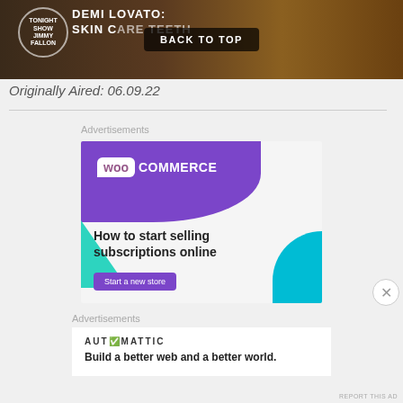[Figure (screenshot): Top portion of a web page showing a TV show thumbnail with 'Tonight Show Jimmy Fallon' and 'Demi Lovato: Skin Care Teeth' text overlay and a 'BACK TO TOP' button.]
Originally Aired: 06.09.22
Advertisements
[Figure (screenshot): WooCommerce advertisement banner showing purple logo, teal triangle shape, cyan curve, headline 'How to start selling subscriptions online', and purple 'Start a new store' button.]
Advertisements
[Figure (screenshot): Automattic advertisement showing logo and tagline 'Build a better web and a better world.']